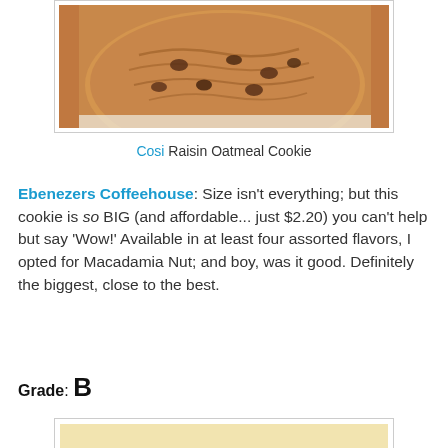[Figure (photo): Photo of Cosi Raisin Oatmeal Cookie on a white plate, partially cropped at top]
Cosi Raisin Oatmeal Cookie
Ebenezers Coffeehouse: Size isn't everything; but this cookie is so BIG (and affordable... just $2.20) you can't help but say 'Wow!' Available in at least four assorted flavors, I opted for Macadamia Nut; and boy, was it good. Definitely the biggest, close to the best.
Grade: B
[Figure (photo): Photo of a round brown cookie on a white plate]